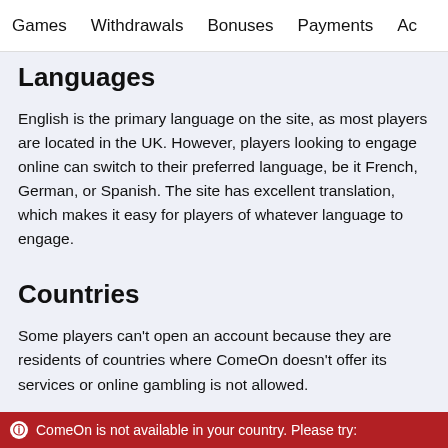Games   Withdrawals   Bonuses   Payments   Ac...
Languages
English is the primary language on the site, as most players are located in the UK. However, players looking to engage online can switch to their preferred language, be it French, German, or Spanish. The site has excellent translation, which makes it easy for players of whatever language to engage.
Countries
Some players can't open an account because they are residents of countries where ComeOn doesn't offer its services or online gambling is not allowed.
ComeOn is not available in your country. Please try: